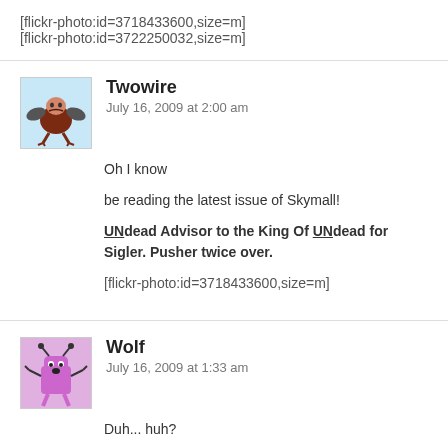[flickr-photo:id=3718433600,size=m]
[flickr-photo:id=3722250032,size=m]
Twowire
July 16, 2009 at 2:00 am
Oh I know
be reading the latest issue of Skymall!
UNdead Advisor to the King Of UNdead for Sigler. Pusher twice over.
[flickr-photo:id=3718433600,size=m]
Wolf
July 16, 2009 at 1:33 am
Duh... huh?